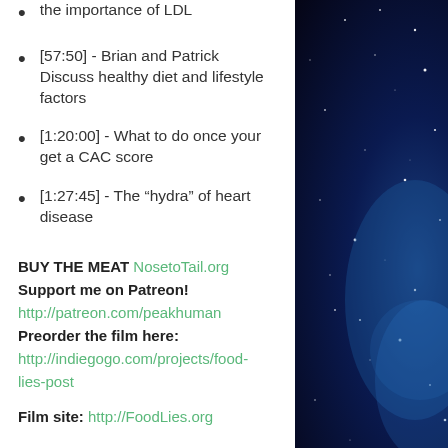the importance of LDL
[57:50] - Brian and Patrick Discuss healthy diet and lifestyle factors
[1:20:00] - What to do once your get a CAC score
[1:27:45]  - The “hydra” of heart disease
BUY THE MEAT NosetoTail.org
Support me on Patreon!
http://patreon.com/peakhuman
Preorder the film here:
http://indiegogo.com/projects/food-lies-post
Film site: http://FoodLies.org